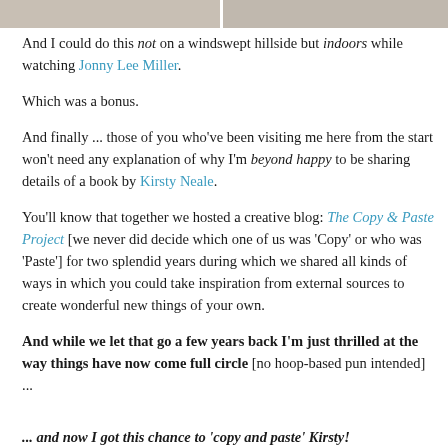[Figure (photo): Partial photo strip at top of page, showing cropped image in two segments]
And I could do this not on a windswept hillside but indoors while watching Jonny Lee Miller.
Which was a bonus.
And finally ... those of you who've been visiting me here from the start won't need any explanation of why I'm beyond happy to be sharing details of a book by Kirsty Neale.
You'll know that together we hosted a creative blog: The Copy & Paste Project [we never did decide which one of us was 'Copy' or who was 'Paste'] for two splendid years during which we shared all kinds of ways in which you could take inspiration from external sources to create wonderful new things of your own.
And while we let that go a few years back I'm just thrilled at the way things have now come full circle [no hoop-based pun intended] ...
... and now I got this chance to 'copy and paste' Kirsty!